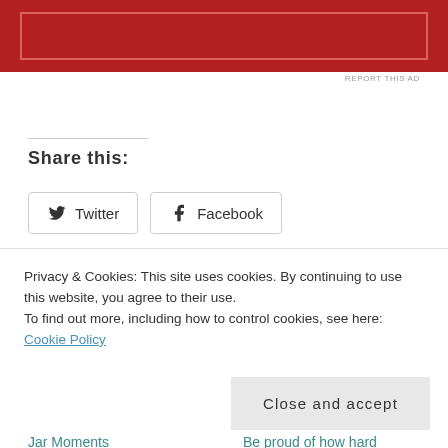[Figure (other): Red advertisement banner with inner white-outlined rectangle]
REPORT THIS AD
Share this:
Twitter  Facebook
Loading...
Related
Privacy & Cookies: This site uses cookies. By continuing to use this website, you agree to their use.
To find out more, including how to control cookies, see here: Cookie Policy
Close and accept
Jar Moments
Be proud of how hard